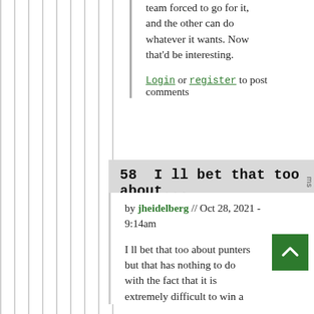team forced to go for it, and the other can do whatever it wants. Now that'd be interesting.
Login or register to post comments
58  I ll bet that too about...
by jheidelberg // Oct 28, 2021 - 9:14am
I ll bet that too about punters but that has nothing to do with the fact that it is extremely difficult to win a